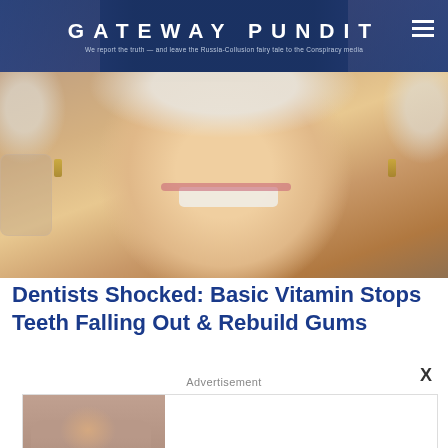GATEWAY PUNDIT — We report the truth — and leave the Russia-Collusion fairy tale to the Conspiracy media
[Figure (photo): Close-up photo of an older smiling woman with white/gray curly hair holding a glass, wearing gold earrings, showing her teeth]
Dentists Shocked: Basic Vitamin Stops Teeth Falling Out & Rebuild Gums
X
Advertisement
[Figure (photo): Advertisement photo of a woman posing outdoors, with text 'Body-positive Influencers Who Celebrate Self-love In All Shapes' and source 'Herbeauty']